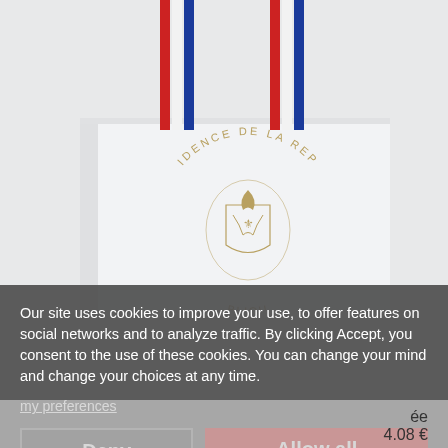[Figure (photo): White shopping bag with tricolor (red, white, blue) ribbon handles and a gold emblem reading 'RÉSIDENCE DE LA RÉPUBLIQUE' in an arc, on a light grey background.]
Our site uses cookies to improve your use, to offer features on social networks and to analyze traffic. By clicking Accept, you consent to the use of these cookies. You can change your mind and change your choices at any time.
my preferences
Deny
Allow all
4.08 €